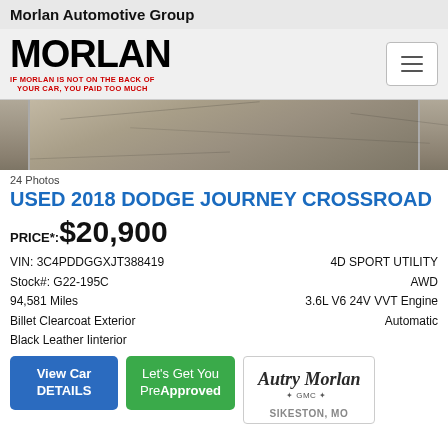Morlan Automotive Group
[Figure (logo): Morlan dealership logo with text MORLAN in large bold black letters and tagline IF MORLAN IS NOT ON THE BACK OF YOUR CAR, YOU PAID TOO MUCH in red]
[Figure (photo): Partial photo of car on concrete pavement, showing ground/pavement texture]
24 Photos
USED 2018 DODGE JOURNEY CROSSROAD
PRICE*: $20,900
VIN: 3C4PDDGGXJT388419
Stock#: G22-195C
94,581 Miles
Billet Clearcoat Exterior
Black Leather Interior
4D SPORT UTILITY
AWD
3.6L V6 24V VVT Engine
Automatic
View Car DETAILS
Let's Get You PreApproved
[Figure (logo): Autry Morlan GMC dealer logo with cursive script and SIKESTON, MO text below]